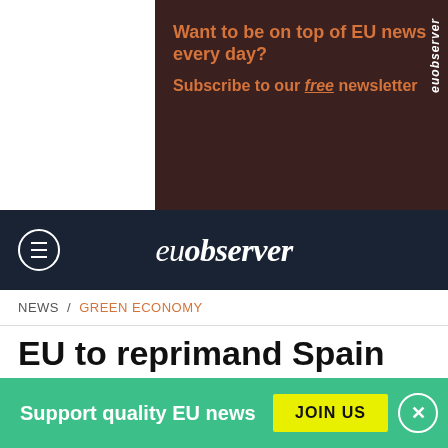[Figure (screenshot): EUobserver advertisement banner with dark brown background. Text reads 'Want to be on top of EU news every day? Subscribe to our free newsletter' in orange/amber bold font. Vertical 'euobserver' logo on the right side in white italic text.]
euobserver
NEWS / GREEN ECONOMY
EU to reprimand Spain and Portugal on budgets
[Figure (photo): Partial photo showing the tops of two people's heads in a dark setting, with a yellow/green circular light in the background.]
Support quality EU news JOIN US